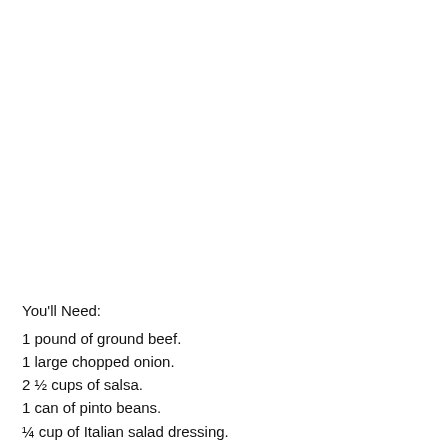You'll Need:
1 pound of ground beef.
1 large chopped onion.
2 ½ cups of salsa.
1 can of pinto beans.
¼ cup of Italian salad dressing.